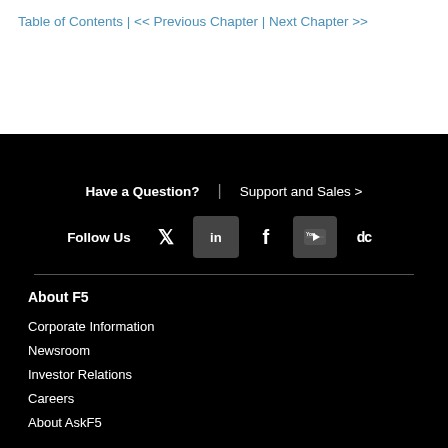Table of Contents | << Previous Chapter | Next Chapter >>
Have a Question?  |  Support and Sales >
Follow Us
About F5
Corporate Information
Newsroom
Investor Relations
Careers
About AskF5